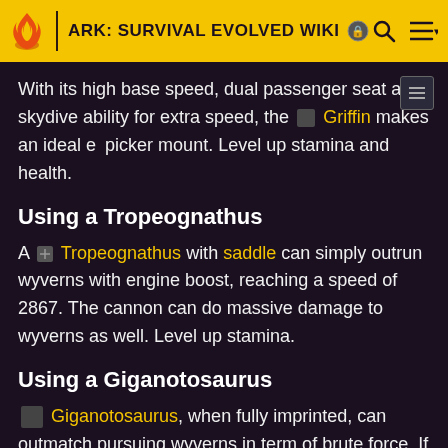ARK: SURVIVAL EVOLVED WIKI
With its high base speed, dual passenger seat and skydive ability for extra speed, the Griffin makes an ideal eg picker mount. Level up stamina and health.
Using a Tropeognathus
A Tropeognathus with saddle can simply outrun wyverns with engine boost, reaching a speed of 2867. The cannon can do massive damage to wyverns as well. Level up stamina.
Using a Giganotosaurus
Giganotosaurus, when fully imprinted, can outmatch pursuing wyverns in term of brute force. If you are not very confident, any buff such as mate-boost, rider-